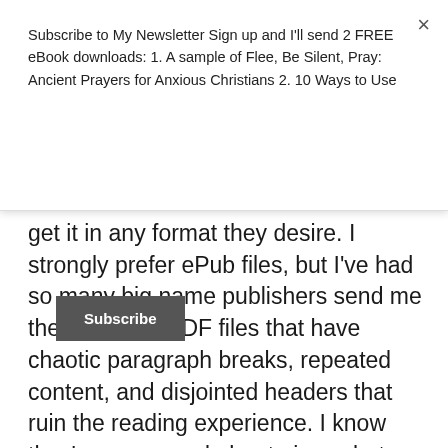Subscribe to My Newsletter Sign up and I'll send 2 FREE eBook downloads: 1. A sample of Flee, Be Silent, Pray: Ancient Prayers for Anxious Christians 2. 10 Ways to Use
[Figure (other): Subscribe button — dark grey rectangular button with white bold text 'Subscribe']
get it in any format they desire. I strongly prefer ePub files, but I've had so many big name publishers send me the crappiest PDF files that have chaotic paragraph breaks, repeated content, and disjointed headers that ruin the reading experience. I know they're concerned about piracy, but this paranoia about piracy punishes the wrong people. The vast majority of bloggers and book reviews barely know how to load an eBook onto an eReader, let alone how to